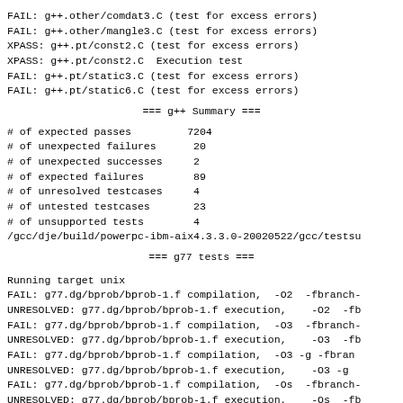FAIL: g++.other/comdat3.C (test for excess errors)
FAIL: g++.other/mangle3.C (test for excess errors)
XPASS: g++.pt/const2.C (test for excess errors)
XPASS: g++.pt/const2.C  Execution test
FAIL: g++.pt/static3.C (test for excess errors)
FAIL: g++.pt/static6.C (test for excess errors)
=== g++ Summary ===
# of expected passes         7204
# of unexpected failures      20
# of unexpected successes     2
# of expected failures        89
# of unresolved testcases     4
# of untested testcases       23
# of unsupported tests        4
/gcc/dje/build/powerpc-ibm-aix4.3.3.0-20020522/gcc/testsu
=== g77 tests ===
Running target unix
FAIL: g77.dg/bprob/bprob-1.f compilation,  -O2  -fbranch-
UNRESOLVED: g77.dg/bprob/bprob-1.f execution,    -O2  -fb
FAIL: g77.dg/bprob/bprob-1.f compilation,  -O3  -fbranch-
UNRESOLVED: g77.dg/bprob/bprob-1.f execution,    -O3  -fb
FAIL: g77.dg/bprob/bprob-1.f compilation,  -O3 -g -fbran
UNRESOLVED: g77.dg/bprob/bprob-1.f execution,    -O3 -g
FAIL: g77.dg/bprob/bprob-1.f compilation,  -Os  -fbranch-
UNRESOLVED: g77.dg/bprob/bprob-1.f execution,    -Os  -fb